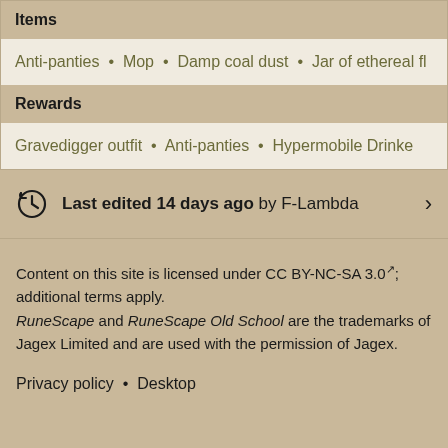| Items | Rewards |
| --- | --- |
| Anti-panties • Mop • Damp coal dust • Jar of ethereal fl |
| Gravedigger outfit • Anti-panties • Hypermobile Drinke |
Last edited 14 days ago by F-Lambda
Content on this site is licensed under CC BY-NC-SA 3.0; additional terms apply. RuneScape and RuneScape Old School are the trademarks of Jagex Limited and are used with the permission of Jagex.
Privacy policy • Desktop